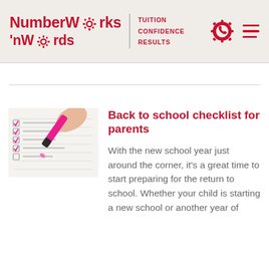NumberWorks 'nWords | TUITION CONFIDENCE RESULTS
Back to school checklist for parents
[Figure (photo): Close-up of a pink highlighter pen checking boxes on a checklist on paper]
With the new school year just around the corner, it's a great time to start preparing for the return to school. Whether your child is starting a new school or another year of